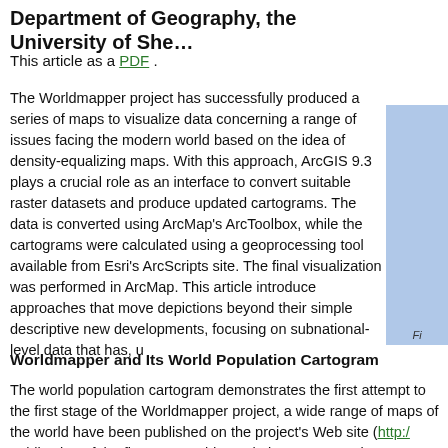Department of Geography, the University of She…
This article as a PDF .
The Worldmapper project has successfully produced a series of maps to visualize data concerning a range of issues facing the modern world based on the idea of density-equalizing maps. With this approach, ArcGIS 9.3 plays a crucial role as an interface to convert suitable raster datasets and produce updated cartograms. The data is converted using ArcMap's ArcToolbox, while the cartograms were calculated using a geoprocessing tool available from Esri's ArcScripts site. The final visualization was performed in ArcMap. This article introduces approaches that move depictions beyond their simple descriptive new developments, focusing on subnational-level data that has, u…
[Figure (other): Partial blue sidebar image on the right margin]
Worldmapper and Its World Population Cartogram
The world population cartogram demonstrates the first attempt to the first stage of the Worldmapper project, a wide range of maps of the world have been published on the project's Web site (http:/ publication of the first new world population cartogram in 2006, n going far beyond the depiction of the world's population and cove and pollution. The Worldmapper cartograms show the data for 20 view on the world to some extent an arbitrary view: territorial bor…